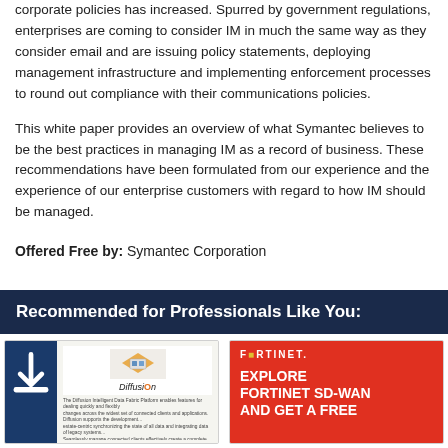corporate policies has increased. Spurred by government regulations, enterprises are coming to consider IM in much the same way as they consider email and are issuing policy statements, deploying management infrastructure and implementing enforcement processes to round out compliance with their communications policies.
This white paper provides an overview of what Symantec believes to be the best practices in managing IM as a record of business. These recommendations have been formulated from our experience and the experience of our enterprise customers with regard to how IM should be managed.
Offered Free by: Symantec Corporation
Recommended for Professionals Like You:
[Figure (screenshot): Thumbnail of a white paper about Diffusion with download icon]
[Figure (screenshot): Fortinet advertisement: Explore Fortinet SD-WAN and Get a Free...]